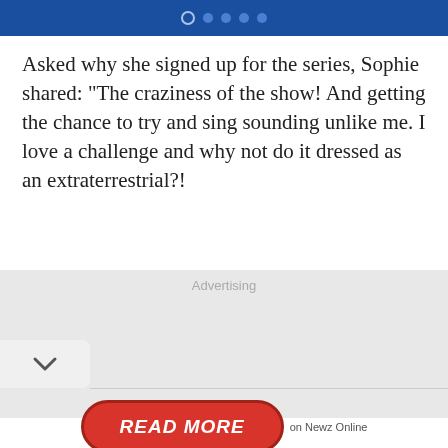● ● ● ● ●
Asked why she signed up for the series, Sophie shared: "The craziness of the show! And getting the chance to try and sing sounding unlike me. I love a challenge and why not do it dressed as an extraterrestrial?!
Advertising
[Figure (other): Advertising placeholder area with grey background and chevron/collapse button]
READ MORE on Newz Online